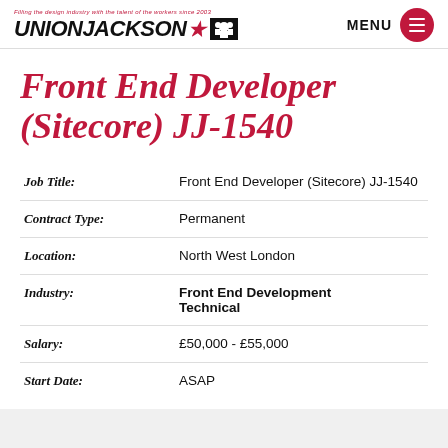UNION JACKSON — Filling the design industry with the talent of the workers since 2003
Front End Developer (Sitecore) JJ-1540
| Field | Value |
| --- | --- |
| Job Title: | Front End Developer (Sitecore) JJ-1540 |
| Contract Type: | Permanent |
| Location: | North West London |
| Industry: | Front End Development Technical |
| Salary: | £50,000 - £55,000 |
| Start Date: | ASAP |